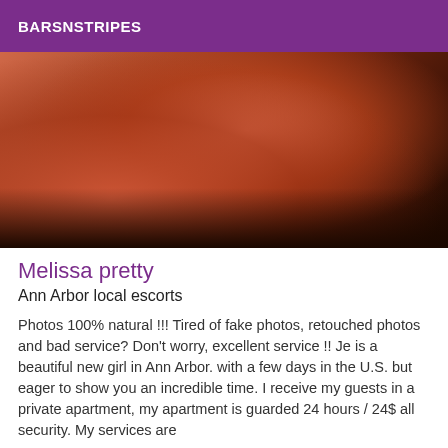BARSNSTRIPES
[Figure (photo): Photo of a person in red lingerie/stockings lying on a brown surface]
Melissa pretty
Ann Arbor local escorts
Photos 100% natural !!! Tired of fake photos, retouched photos and bad service? Don't worry, excellent service !! Je is a beautiful new girl in Ann Arbor. with a few days in the U.S. but eager to show you an incredible time. I receive my guests in a private apartment, my apartment is guarded 24 hours / 24$ all security. My services are